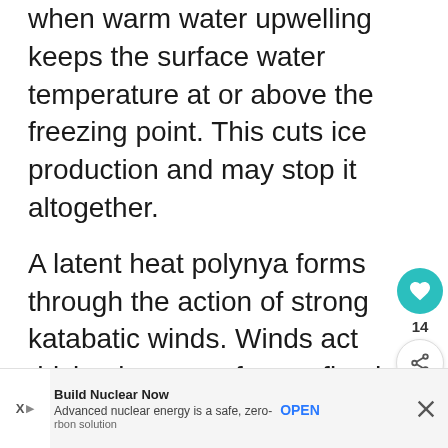when warm water upwelling keeps the surface water temperature at or above the freezing point. This cuts ice production and may stop it altogether.
A latent heat polynya forms through the action of strong katabatic winds. Winds act driving ice away from a fixed edge such as a coastline, fast ice, or an ice bridge. The polynya forms primarily when first-year (young) sea ice is driven away from the coast. This leaves an area of open water within. The new ice is then piled up do[wnwind where it is compressed and the ice]